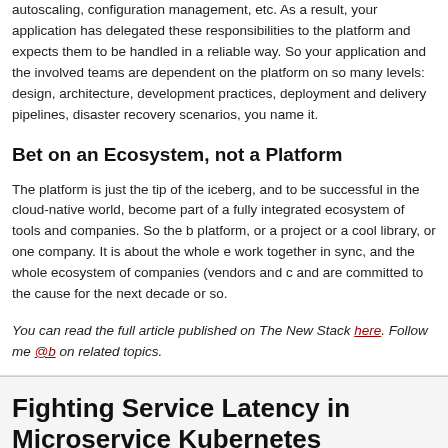autoscaling, configuration management, etc. As a result, your application has delegated these responsibilities to the platform and expects them to be handled in a reliable way. So your application and the involved teams are dependent on the platform on so many levels: design, architecture, development practices, deployment and delivery pipelines, disaster recovery scenarios, you name it.
Bet on an Ecosystem, not a Platform
The platform is just the tip of the iceberg, and to be successful in the cloud-native world, become part of a fully integrated ecosystem of tools and companies. So the bet is not on a platform, or a project or a cool library, or one company. It is about the whole ecosystem to work together in sync, and the whole ecosystem of companies (vendors and customers) that and are committed to the cause for the next decade or so.
You can read the full article published on The New Stack here. Follow me @b on related topics.
Fighting Service Latency in Microservices with Kubernetes
SATURDAY, MAY 20, 2017   NO COMMENTS
(This post was originally published on Red Hat Developers, the community to learn, code,